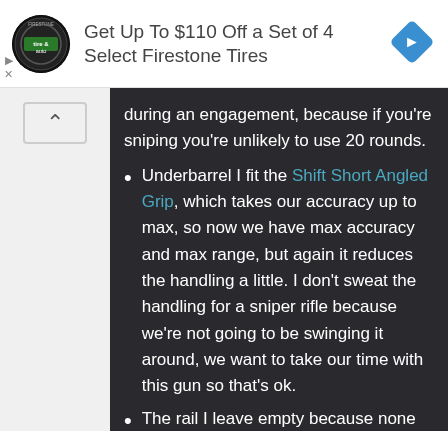[Figure (infographic): Advertisement banner: Firestone tire and auto logo (circular black badge), text 'Get Up To $110 Off a Set of 4 Select Firestone Tires', blue diamond direction icon on right. Play and X ad controls on left.]
during an engagement, because if you're sniping you're unlikely to use 20 rounds.
Underbarrel I fit the Shift Short Angled Grip, which takes our accuracy up to max, so now we have max accuracy and max range, but again it reduces the handling a little. I don't sweat the handling for a sniper rifle because we're not going to be swinging it around, we want to take our time with this gun so that's ok.
The rail I leave empty because none of those three accessories will benefit the stats we have already. They all just hamper handling further and can't increase accuracy any more than it is.
This probably doesn't matter... (cut off)